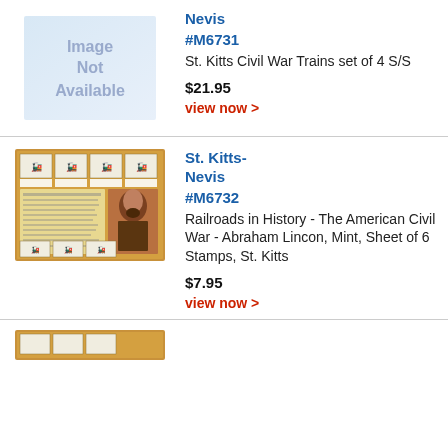[Figure (illustration): Image Not Available stamp placeholder with perforated edge]
Nevis
#M6731
St. Kitts Civil War Trains set of 4 S/S
$21.95
view now >
[Figure (photo): Stamp sheet showing Railroads in History - American Civil War with Abraham Lincoln portrait and 6 train stamps on yellow/gold background]
St. Kitts-Nevis
#M6732
Railroads in History - The American Civil War - Abraham Lincon, Mint, Sheet of 6 Stamps, St. Kitts
$7.95
view now >
[Figure (photo): Partial view of another stamp sheet at the bottom of the page]